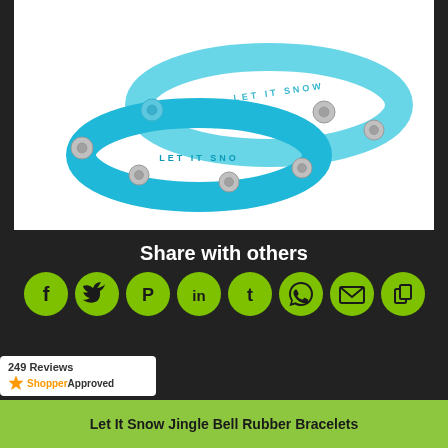[Figure (photo): Two blue/cyan rubber bracelets with 'LET IT SNOW' embossed text and silver jingle bells attached, displayed on white background]
Share with others
[Figure (infographic): Row of 8 green circular social media share icons: Facebook, Twitter, Pinterest, LinkedIn, Tumblr, WhatsApp, Email, Copy]
[Figure (logo): ShopperApproved badge showing 249 Reviews with star rating]
Let It Snow Jingle Bell Rubber Bracelets